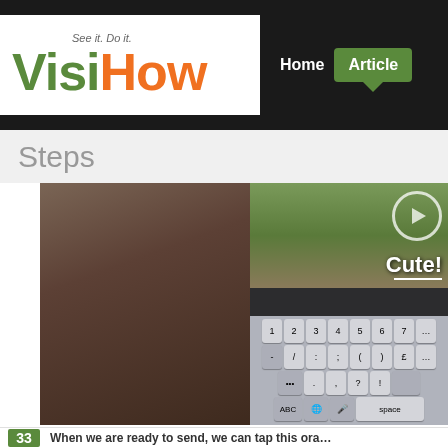VisiHow — See it. Do it. | Home | Articles
Steps
[Figure (screenshot): Screenshot of a mobile device showing a keyboard with number row and symbols, with text 'Cute!' visible on screen and a play button circle in the upper right]
When we are ready to send, we can tap this ora...